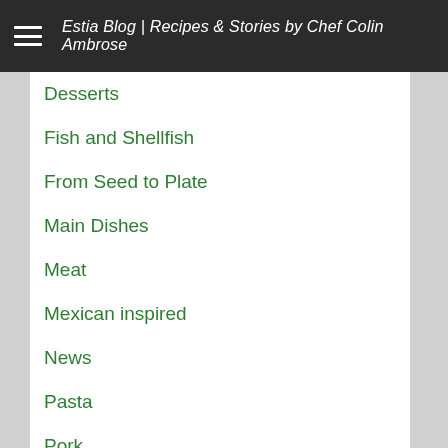Estia Blog | Recipes & Stories by Chef Colin Ambrose
Desserts
Fish and Shellfish
From Seed to Plate
Main Dishes
Meat
Mexican inspired
News
Pasta
Pork
Recipes
Restaurant Events
Restaurant Visits